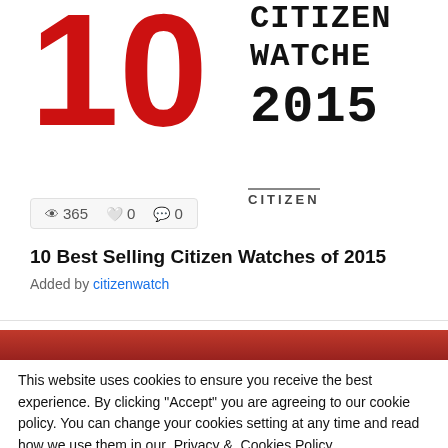[Figure (screenshot): Large red bold '10' number overlapping with 'CITIZEN WATCHES 2015' text in monospace font on white background, forming a thumbnail/card image for a listicle article]
365  0  0
10 Best Selling Citizen Watches of 2015
Added by citizenwatch
[Figure (photo): Red gradient banner strip, partial view of a second card]
This website uses cookies to ensure you receive the best experience. By clicking "Accept" you are agreeing to our cookie policy. You can change your cookies setting at any time and read how we use them in our Privacy & Cookies Policy.
Accept  Learn more